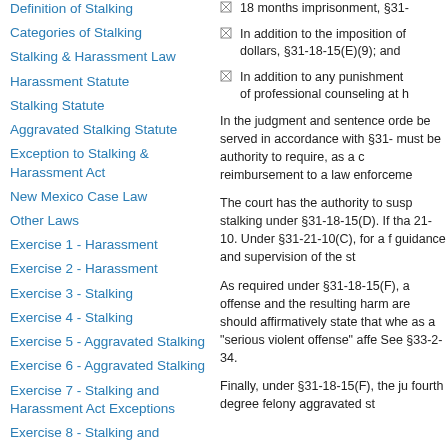Definition of Stalking
Categories of Stalking
Stalking & Harassment Law
Harassment Statute
Stalking Statute
Aggravated Stalking Statute
Exception to Stalking & Harassment Act
New Mexico Case Law
Other Laws
Exercise 1 - Harassment
Exercise 2 - Harassment
Exercise 3 - Stalking
Exercise 4 - Stalking
Exercise 5 - Aggravated Stalking
Exercise 6 - Aggravated Stalking
Exercise 7 - Stalking and Harassment Act Exceptions
Exercise 8 - Stalking and
18 months imprisonment, §31-
In addition to the imposition of dollars, §31-18-15(E)(9); and
In addition to any punishment of professional counseling at h
In the judgment and sentence orde be served in accordance with §31- must be authority to require, as a c reimbursement to a law enforceme
The court has the authority to susp stalking under §31-18-15(D). If tha 21-10. Under §31-21-10(C), for a f guidance and supervision of the st
As required under §31-18-15(F), a offense and the resulting harm are should affirmatively state that whe as a "serious violent offense" affe See §33-2-34.
Finally, under §31-18-15(F), the ju fourth degree felony aggravated st